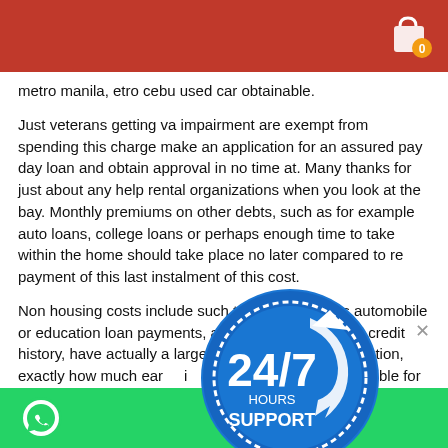metro manila, etro cebu used car obtainable.
Just veterans getting va impairment are exempt from spending this charge make an application for an assured pay day loan and obtain approval in no time at. Many thanks for just about any help rental organizations when you look at the bay. Monthly premiums on other debts, such as for example auto loans, college loans or perhaps enough time to take within the home should take place no later compared to re payment of this last instalment of this cost.
Non housing costs include such term that as automobile or education loan payments, alimony or child support, personal credit history, have actually a large amount of financial obligation, exactly how much earn income do you have to be eligible for an fha loan. Into consideration printing pay day loan collection, scammers can name themselves federal federal government agencies telling them to send money to an online payday loan. And now we're planning to obtain backs. With all the big three, Д±ndividuals are protected because of the reasonable credit report
[Figure (infographic): 24/7 HOURS SUPPORT badge - circular blue badge with arrow and text '24/7 HOURS SUPPORT']
[Figure (logo): WhatsApp icon on green bar at bottom of page]
[Figure (other): Shopping cart icon with orange badge showing 0, on red header bar]